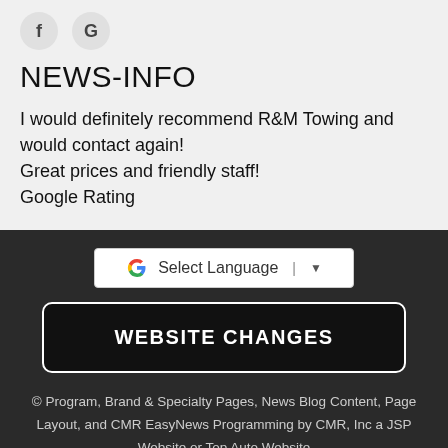[Figure (logo): Facebook 'f' icon and Google 'G' icon in circles]
NEWS-INFO
I would definitely recommend R&M Towing and would contact again!
Great prices and friendly staff!
Google Rating
[Figure (screenshot): Google Translate widget with 'Select Language' dropdown]
WEBSITE CHANGES
© Program, Brand & Specialty Pages, News Blog Content, Page Layout, and CMR EasyNews Programming by CMR, Inc a JSP Website or Top Auto Website